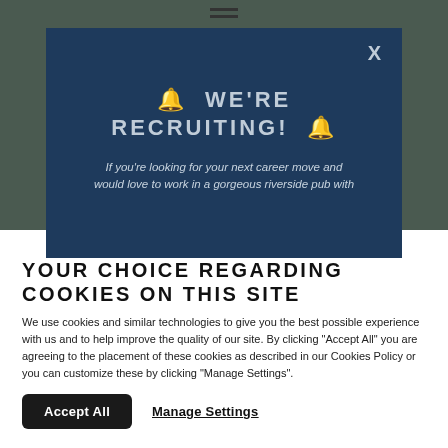[Figure (photo): Background photo of a riverside pub scene, partially visible behind a dark blue modal overlay]
🔔 WE'RE RECRUITING! 🔔
If you're looking for your next career move and would love to work in a gorgeous riverside pub with
YOUR CHOICE REGARDING COOKIES ON THIS SITE
We use cookies and similar technologies to give you the best possible experience with us and to help improve the quality of our site. By clicking "Accept All" you are agreeing to the placement of these cookies as described in our Cookies Policy or you can customize these by clicking "Manage Settings".
Accept All
Manage Settings